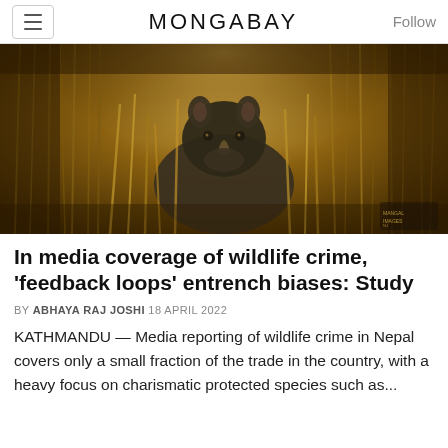MONGABAY
[Figure (photo): A rhinoceros standing among tall golden-brown grasses, photographed in warm low-light conditions, looking toward the camera.]
In media coverage of wildlife crime, 'feedback loops' entrench biases: Study
BY ABHAYA RAJ JOSHI 18 APRIL 2022
KATHMANDU — Media reporting of wildlife crime in Nepal covers only a small fraction of the trade in the country, with a heavy focus on charismatic protected species such as...